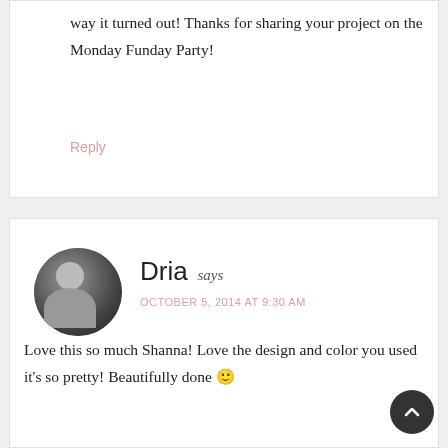way it turned out! Thanks for sharing your project on the Monday Funday Party!
Reply
Dria says
OCTOBER 5, 2014 AT 9:30 AM
[Figure (photo): Circular avatar photo of Dria, a woman with long hair, black and white portrait]
Love this so much Shanna! Love the design and color you used it's so pretty! Beautifully done 🙂